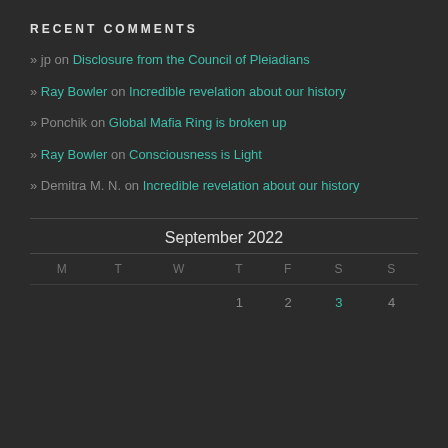RECENT COMMENTS
» jp on Disclosure from the Council of Pleiadians
» Ray Bowler on Incredible revelation about our history
» Ponchik on Global Mafia Ring is broken up
» Ray Bowler on Consciousness is Light
» Demitra M. N. on Incredible revelation about our history
| M | T | W | T | F | S | S |
| --- | --- | --- | --- | --- | --- | --- |
|  |  |  | 1 | 2 | 3 | 4 |